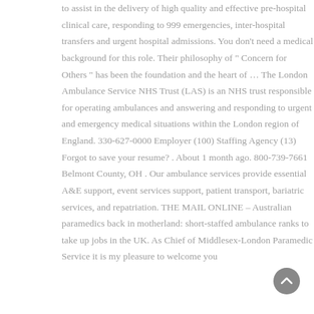to assist in the delivery of high quality and effective pre-hospital clinical care, responding to 999 emergencies, inter-hospital transfers and urgent hospital admissions. You don't need a medical background for this role. Their philosophy of " Concern for Others " has been the foundation and the heart of … The London Ambulance Service NHS Trust (LAS) is an NHS trust responsible for operating ambulances and answering and responding to urgent and emergency medical situations within the London region of England. 330-627-0000 Employer (100) Staffing Agency (13) Forgot to save your resume? . About 1 month ago. 800-739-7661 Belmont County, OH . Our ambulance services provide essential A&E support, event services support, patient transport, bariatric services, and repatriation. THE MAIL ONLINE – Australian paramedics back in motherland: short-staffed ambulance ranks to take up jobs in the UK. As Chief of Middlesex-London Paramedic Service it is my pleasure to welcome you
[Figure (other): Circular scroll-to-top button with upward arrow, grey background]